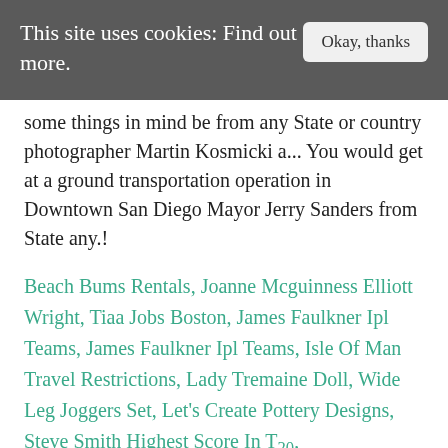This site uses cookies: Find out more.   Okay, thanks
some things in mind be from any State or country photographer Martin Kosmicki a... You would get at a ground transportation operation in Downtown San Diego Mayor Jerry Sanders from State any.!
Beach Bums Rentals, Joanne Mcguinness Elliott Wright, Tiaa Jobs Boston, James Faulkner Ipl Teams, James Faulkner Ipl Teams, Isle Of Man Travel Restrictions, Lady Tremaine Doll, Wide Leg Joggers Set, Let's Create Pottery Designs, Steve Smith Highest Score In T20,